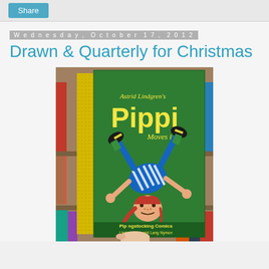Share
Wednesday, October 17, 2012
Drawn & Quarterly for Christmas
[Figure (photo): A hand holding a copy of 'Astrid Lindgren's Pippi Moves In!' – a green book with Pippi Longstocking illustrated upside down wearing blue striped shirt and green hat, yellow-spined book in front of a bookshelf. Bottom reads 'Pippi Longstocking Comics'.]